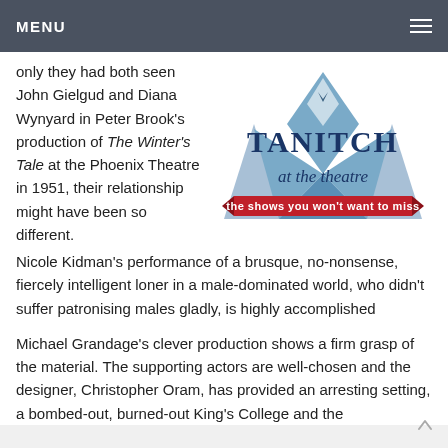MENU
only they had both seen John Gielgud and Diana Wynyard in Peter Brook's production of The Winter's Tale at the Phoenix Theatre in 1951, their relationship might have been so different.
[Figure (logo): Tanitch at the theatre — the shows you won't want to miss logo. Dark blue star/diamond shape with TANITCH text and cursive 'at the theatre' with a red banner saying 'the shows you won't want to miss']
Nicole Kidman's performance of a brusque, no-nonsense, fiercely intelligent loner in a male-dominated world, who didn't suffer patronising males gladly, is highly accomplished
Michael Grandage's clever production shows a firm grasp of the material. The supporting actors are well-chosen and the designer, Christopher Oram, has provided an arresting setting, a bombed-out, burned-out King's College and the